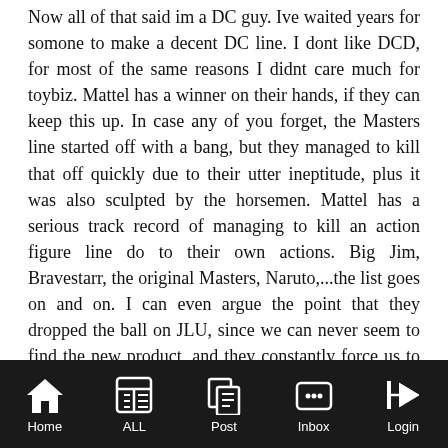Now all of that said im a DC guy. Ive waited years for somone to make a decent DC line. I dont like DCD, for most of the same reasons I didnt care much for toybiz. Mattel has a winner on their hands, if they can keep this up. In case any of you forget, the Masters line started off with a bang, but they managed to kill that off quickly due to their utter ineptitude, plus it was also sculpted by the horsemen. Mattel has a serious track record of managing to kill an action figure line do to their own actions. Big Jim, Bravestarr, the original Masters, Naruto,...the list goes on and on. I can even argue the point that they dropped the ball on JLU, since we can never seem to find the new product, and they constantly force us to buy the big 7. Although I suppose the same can be said that this is one of the few lines they have done right, due to the sheer variety of figures. Say what you will about Hasbro, but they know how to market a boys action figure line. Gijoe has been made almost consitantly since the late 60's, Starwars has been going strong since the early 90's, TF has had an almost constant presence in
Home | ALL | Post | Inbox | Login